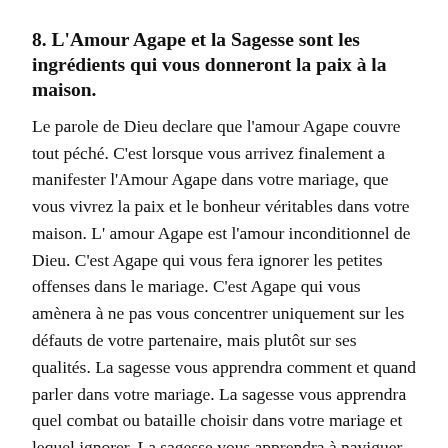8. L'Amour Agape et la Sagesse sont les ingrédients qui vous donneront la paix à la maison.
Le parole de Dieu declare que l'amour Agape couvre tout péché. C'est lorsque vous arrivez finalement a manifester l'Amour Agape dans votre mariage, que vous vivrez la paix et le bonheur véritables dans votre maison. L' amour Agape est l'amour inconditionnel de Dieu. C'est Agape qui vous fera ignorer les petites offenses dans le mariage. C'est Agape qui vous amènera à ne pas vous concentrer uniquement sur les défauts de votre partenaire, mais plutôt sur ses qualités. La sagesse vous apprendra comment et quand parler dans votre mariage. La sagesse vous apprendra quel combat ou bataille choisir dans votre mariage et lequel ignorer. La sagesse vous apprendra à naviguer toutes les complexités et les subtilités qui pourraient